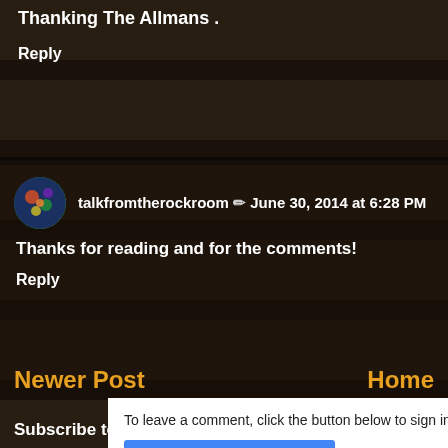Thanking The Allmans .
Reply
talkfromtherockroom / June 30, 2014 at 6:28 PM
Thanks for reading and for the comments!
Reply
To leave a comment, click the button below to sign in with
SIGN IN WITH GOOGLE
Newer Post
Home
Subscribe to: Post Comments (Atom)